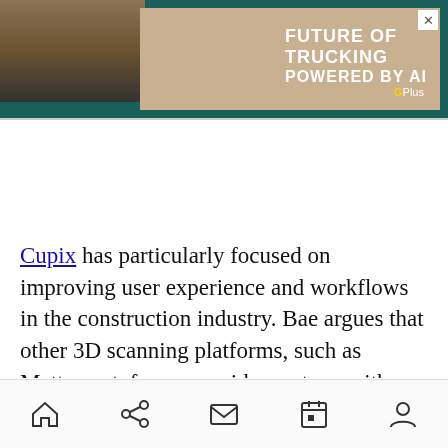[Figure (screenshot): Banner advertisement for trucking AI platform showing a truck in a desert landscape with text 'FUTURE OF TRUCKING POWERED BY AI' and a G Plus logo]
Cupix has particularly focused on improving user experience and workflows in the construction industry. Bae argues that other 3D scanning platforms, such as Matterport, focus on wider sectors, with different requirements. Although they may provide high-resolution imagery at a low price, it can be time-consuming to complete
[Figure (other): Mobile navigation bar with home, share, mail, calendar, and profile icons]